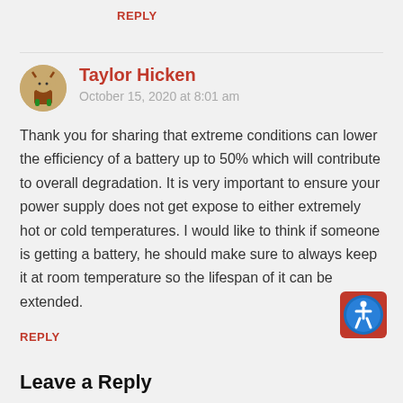REPLY
Taylor Hicken
October 15, 2020 at 8:01 am
Thank you for sharing that extreme conditions can lower the efficiency of a battery up to 50% which will contribute to overall degradation. It is very important to ensure your power supply does not get expose to either extremely hot or cold temperatures. I would like to think if someone is getting a battery, he should make sure to always keep it at room temperature so the lifespan of it can be extended.
REPLY
Leave a Reply